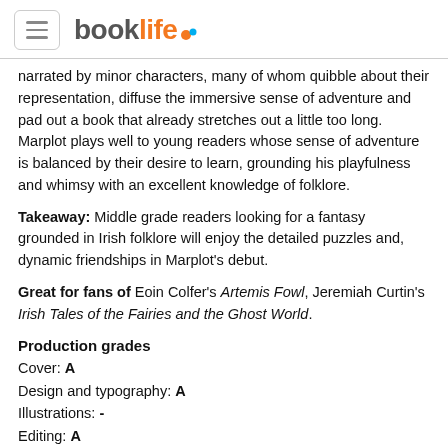booklife
narrated by minor characters, many of whom quibble about their representation, diffuse the immersive sense of adventure and pad out a book that already stretches out a little too long. Marplot plays well to young readers whose sense of adventure is balanced by their desire to learn, grounding his playfulness and whimsy with an excellent knowledge of folklore.
Takeaway: Middle grade readers looking for a fantasy grounded in Irish folklore will enjoy the detailed puzzles and, dynamic friendships in Marplot's debut.
Great for fans of Eoin Colfer's Artemis Fowl, Jeremiah Curtin's Irish Tales of the Fairies and the Ghost World.
Production grades
Cover: A
Design and typography: A
Illustrations: -
Editing: A
Marketing copy: A-